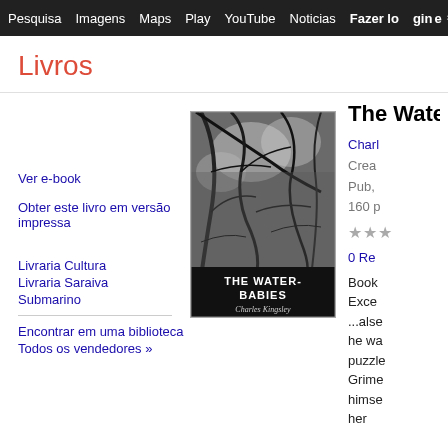Pesquisa  Imagens  Maps  Play  YouTube  Noticias  Fazer login  ⚙ a
Livros
The Water-Babie
Ver e-book
Obter este livro em versão impressa
Livraria Cultura
Livraria Saraiva
Submarino
Encontrar em uma biblioteca
Todos os vendedores »
[Figure (illustration): Book cover of The Water-Babies by Charles Kingsley, black and white image with tree branches, dark banner at bottom with title and author name]
Charl
Crea
Pub,
160 p
★★★
0 Re
Book
Exce
...alse
he wa
puzzle
Grime
himse
her